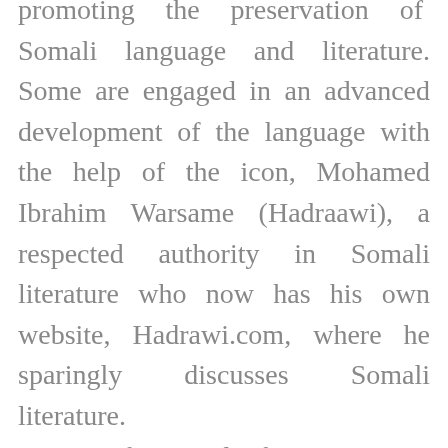promoting the preservation of Somali language and literature. Some are engaged in an advanced development of the language with the help of the icon, Mohamed Ibrahim Warsame (Hadraawi), a respected authority in Somali literature who now has his own website, Hadrawi.com, where he sparingly discusses Somali literature. Unfortunately, first generation Diaspora Somalis may have already lost much of the language, or blended it with other languages in their respective new countries. A recent observation of